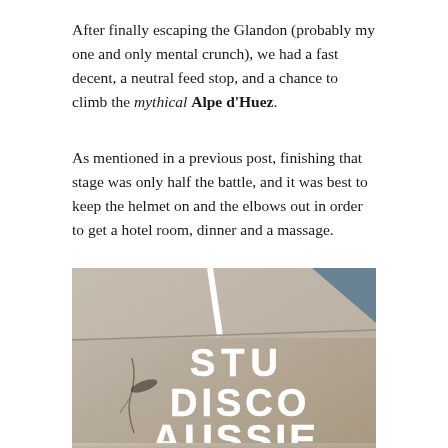After finally escaping the Glandon (probably my one and only mental crunch), we had a fast decent, a neutral feed stop, and a chance to climb the mythical Alpe d'Huez.
As mentioned in a previous post, finishing that stage was only half the battle, and it was best to keep the helmet on and the elbows out in order to get a hotel room, dinner and a massage.
[Figure (photo): Photo of road/tarmac surface with white chalk or paint writing. Visible text reads 'STU DISCO AUSSIE' written in large letters on the road surface. There is also a white diagonal line (road marking) visible in the upper portion of the image.]